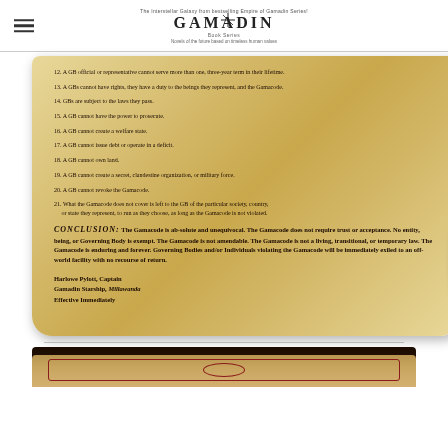GAMADIN Book Series
[Figure (illustration): A parchment scroll showing numbered list items 12-21 of the Gamacode, a conclusion paragraph, and a signature block from Harlowe Pylott, Captain of the Gamadin Starship Millawanda.]
12. A GB official or representative cannot serve more than one, three-year term in their lifetime.
13. A GBs cannot have rights, they have a duty to the beings they represent, and the Gamacode.
14. GBs are subject to the laws they pass.
15. A GB cannot have the power to prosecute.
16. A GB cannot create a welfare state.
17. A GB cannot issue debt or operate in a deficit.
18. A GB cannot own land.
19. A GB cannot create a secret, clandestine organization, or military force.
20. A GB cannot revoke the Gamacode.
21. What the Gamacode does not cover is left to the GB of the particular society, country, or state they represent, to run as they choose, as long as the Gamacode is not violated.
CONCLUSION: The Gamacode is absolute and unequivocal. The Gamacode does not require trust or acceptance. No entity, being, or Governing Body is exempt. The Gamacode is not amendable. The Gamacode is not a living, transitional, or temporary law. The Gamacode is enduring and forever. Governing Bodies and/or Individuals violating the Gamacode will be immediately exiled to an off-world facility with no recourse of return.
Harlowe Pylott, Captain
Gamadin Starship, Millawanda
Effective Immediately
[Figure (illustration): Bottom portion of a decorative parchment document with ornamental border in dark reddish-brown color.]